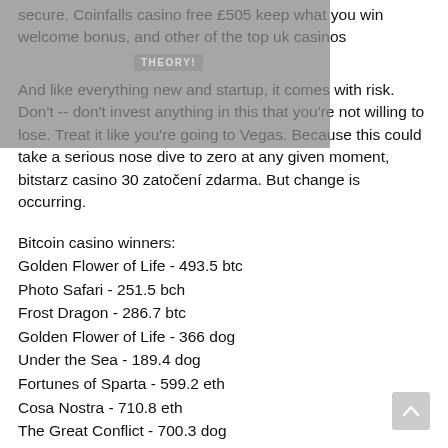[Figure (other): Greyed-out overlay image with THEORY! badge/watermark visible in the upper-left portion of the page]
secure. Coinfalls casino free £505 keep what you win welcome bonus, and other of the top uk casinos
And like everything new and startup, it comes with risk. Don't -- don't invest anything in this that you're not willing to lose. Treat it like you're going to Vegas. Because this could take a serious nose dive to zero at any given moment, bitstarz casino 30 zatočení zdarma. But change is occurring.
Bitcoin casino winners:
Golden Flower of Life - 493.5 btc
Photo Safari - 251.5 bch
Frost Dragon - 286.7 btc
Golden Flower of Life - 366 dog
Under the Sea - 189.4 dog
Fortunes of Sparta - 599.2 eth
Cosa Nostra - 710.8 eth
The Great Conflict - 700.3 dog
Jean Wealth - 263 btc